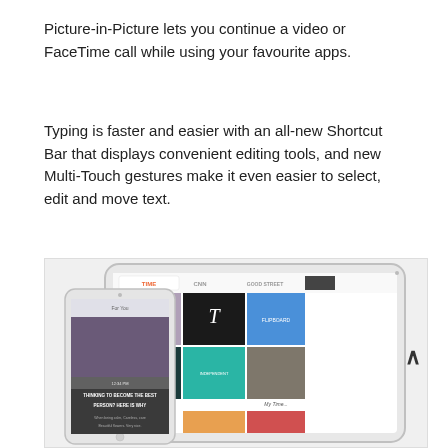Picture-in-Picture lets you continue a video or FaceTime call while using your favourite apps.
Typing is faster and easier with an all-new Shortcut Bar that displays convenient editing tools, and new Multi-Touch gestures make it even easier to select, edit and move text.
[Figure (photo): Photo of an iPad and iPhone displaying a news app (Flipboard-style) with various publication logos and article thumbnails including TIME, CNN, Good Street, The New York Times, QUARTZ, and others. A white chevron/arrow icon is visible on the right side of the image.]